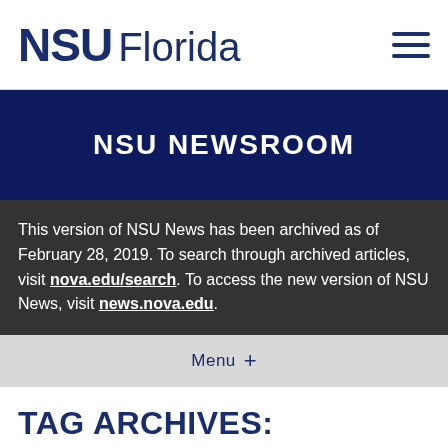NSU Florida
NSU NEWSROOM
This version of NSU News has been archived as of February 28, 2019. To search through archived articles, visit nova.edu/search. To access the new version of NSU News, visit news.nova.edu.
Menu +
TAG ARCHIVES: BUSINESS FEATURE